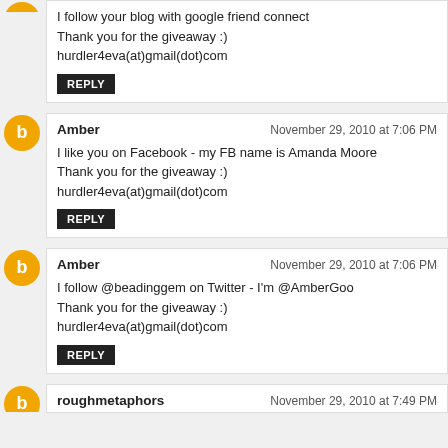I follow your blog with google friend connect
Thank you for the giveaway :)
hurdler4eva(at)gmail(dot)com
Reply
Amber — November 29, 2010 at 7:06 PM
I like you on Facebook - my FB name is Amanda Moore
Thank you for the giveaway :)
hurdler4eva(at)gmail(dot)com
Reply
Amber — November 29, 2010 at 7:06 PM
I follow @beadinggem on Twitter - I'm @AmberGoo
Thank you for the giveaway :)
hurdler4eva(at)gmail(dot)com
Reply
roughmetaphors — November 29, 2010 at 7:49 PM